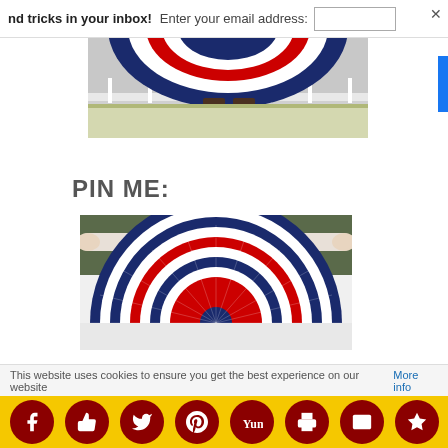nd tricks in your inbox!  Enter your email address:
[Figure (photo): Cropped photo showing bottom portion of person holding patriotic bunting/flag decoration in front of a building]
PIN ME:
[Figure (photo): Person holding a large semicircular pleated patriotic bunting with red, white and blue stripes, fan-shaped decoration]
This website uses cookies to ensure you get the best experience on our website More info